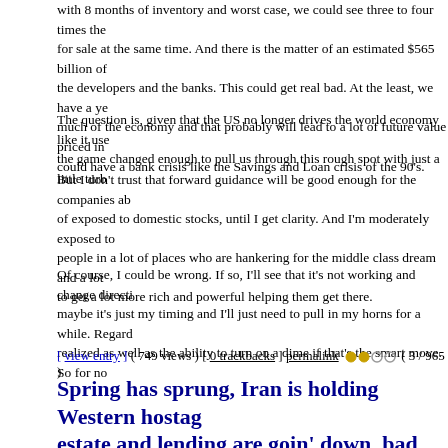with 8 months of inventory and worst case, we could see three to four times the for sale at the same time. And there is the matter of an estimated $565 billion of the developers and the banks. This could get real bad. At the least, we have a ye much of the economy and that probably will lead to a lot of future value priced in could have a bank crisis like the Savings and Loan crisis of the 90's.
The question is, given that the US no longer drives the world economy like it use the game changed enough to pull us through this rough spot with just a little turb
But I don't trust that forward guidance will be good enough for the companies ab of exposed to domestic stocks, until I get clarity. And I'm moderately exposed to people in a lot of places who are hankering for the middle class dream and a lot to get a lot more rich and powerful helping them get there.
Of course, I could be wrong. If so, I'll see that it's not working and change directi maybe it's just my timing and I'll just need to pull in my horns for a while. Regard realized as well as the ability to turn on a dime if that's the smart move. So for no
[ view entry ] ( 749 views ) [ 0 trackbacks ] permalink ●●○○○ ( 3 / 965 )
Spring has sprung, Iran is holding Western hostag estate and lending are goin' down, bad loans are t bogged down in an overseas civil war, we have a b imploding, the Demo's are about to have a bloody compelling candidates. Welcome to 1969,70,72,'76 other bad years.
Saturday, March 31, 2007, 02:55 PM